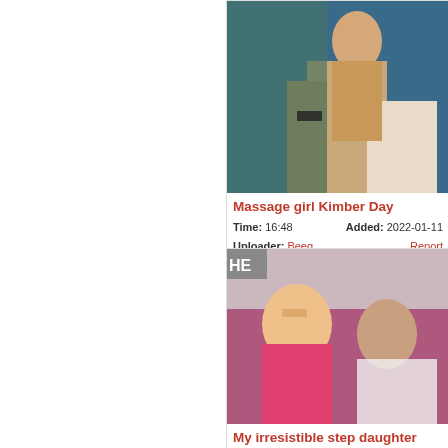[Figure (photo): Thumbnail image for massage video]
Massage girl Kimber Day
Time: 16:48   Added: 2022-01-11
Uploader: Beeg   Report
Tags: ass, beauty,
[Figure (photo): Thumbnail image for step daughter video]
My irresistible step daughter